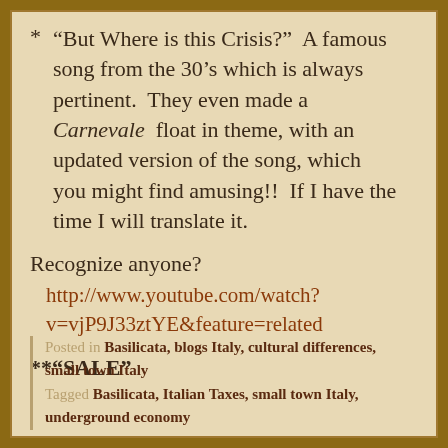* “But Where is this Crisis?”  A famous song from the 30’s which is always pertinent.  They even made a Carnevale float in theme, with an updated version of the song, which you might find amusing!!  If I have the time I will translate it.
Recognize anyone?
http://www.youtube.com/watch?v=vjP9J33ztYE&feature=related
**“SALE”
Posted in Basilicata, blogs Italy, cultural differences, small town Italy
Tagged Basilicata, Italian Taxes, small town Italy, underground economy